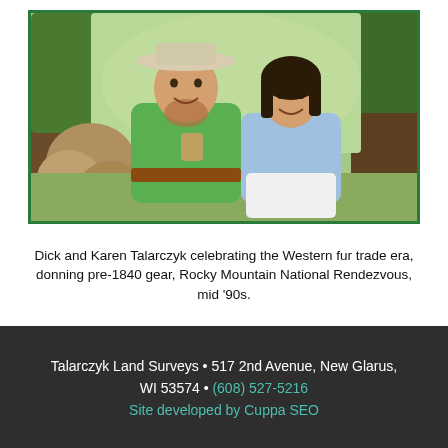[Figure (photo): Dick and Karen Talarczyk sitting outdoors in front of trees, wearing historical Western fur trade era pre-1840 clothing. The man wears a green knit top, brown leather belt, and wide-brimmed hat; the woman wears a light blue shirt and white pants. Rocky Mountain National Rendezvous setting, mid 1990s.]
Dick and Karen Talarczyk celebrating the Western fur trade era, donning pre-1840 gear, Rocky Mountain National Rendezvous, mid '90s.
Talarczyk Land Surveys • 517 2nd Avenue, New Glarus, WI 53574 • (608) 527-5216  Site developed by Cuppa SEO